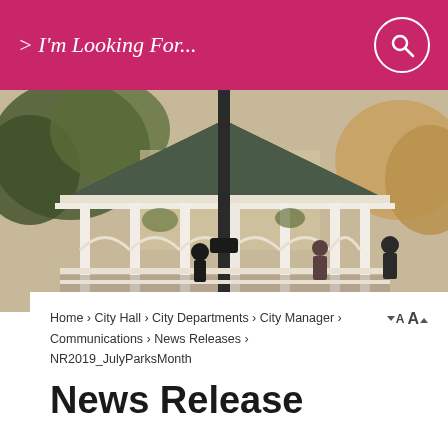> I'm Looking For...
[Figure (photo): Outdoor gazebo/bandstand with white columns and dark roof, people gathered underneath, trees in background — a public park scene]
Home › City Hall › City Departments › City Manager › Communications › News Releases › NR2019_JulyParksMonth
News Release